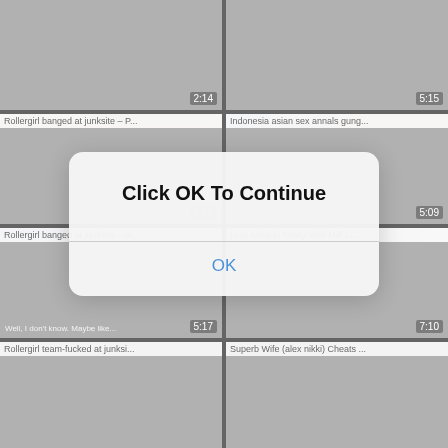[Figure (screenshot): Video thumbnail grid showing adult content thumbnails with titles and durations. Row 1: two thumbnails with durations 2:14 and 5:15. Row 2: 'Rollergirl banged at junksite - P...' (5:15 blurred) and 'Indonesia asian sex annals gung...' (5:09). Row 3: 'Rollergirl banged at junksite - In...' and '(ava nakare) Nasty Wild Milf Li...' (5:17, 7:10). Row 4: 'Rollergirl team-fucked at junksi...' and 'Superb Wife (alex nikki) Cheats ...']
Click OK To Continue
OK